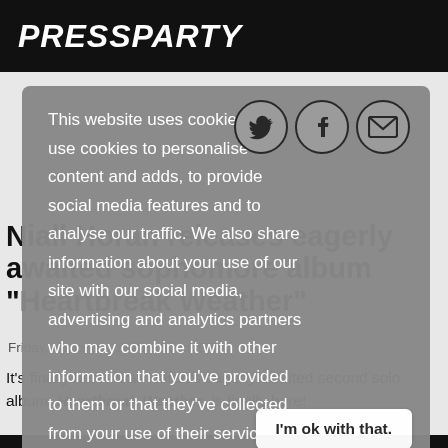PRESSPARTY
This website uses cookies. We use cookies to personalise content and adds, to provide social media features and to analyse our traffic. We also share information about your use of our site with our social media, advertising and analytics partners who may combine it with other information that you've provided to them or that they've collected from your use of their services. Learn more
Niall Horan releases eagerly awaited sophomore album "Heartbreak Weather"
Friday, March 13, 2020 8:30am ET
It's finally here! Niall Horan's eagerly awaited second solo album, Heartbreak Weather, is finally here!